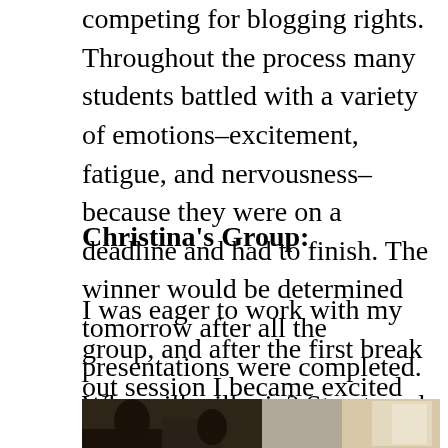competing for blogging rights. Throughout the process many students battled with a variety of emotions–excitement, fatigue, and nervousness–because they were on a deadline and had to finish. The winner would be determined tomorrow after all the presentations were completed. Who will will win? Stay tuned for tomorrow's blog!
Christina's Group:
I was eager to work with my group, and after the first break out session I became excited about the project.
[Figure (photo): A photo showing students working in a room, partially visible at the bottom of the page.]